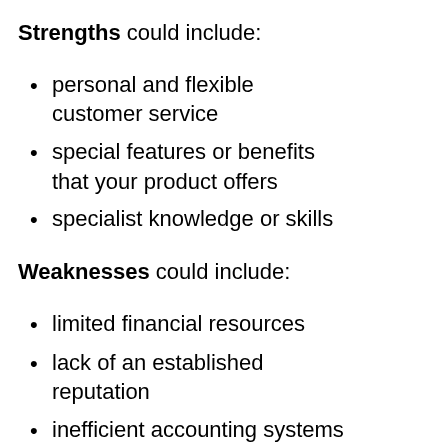Strengths could include:
personal and flexible customer service
special features or benefits that your product offers
specialist knowledge or skills
Weaknesses could include:
limited financial resources
lack of an established reputation
inefficient accounting systems
Opportunities could include: